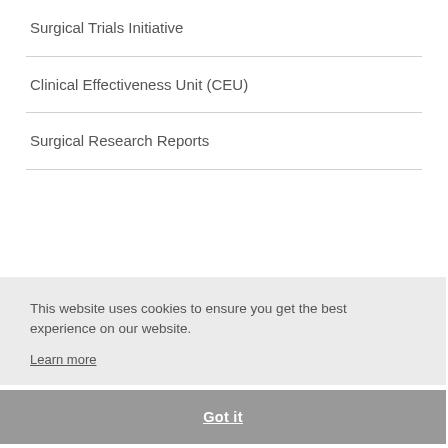Surgical Trials Initiative
Clinical Effectiveness Unit (CEU)
Surgical Research Reports
This website uses cookies to ensure you get the best experience on our website.
Learn more
Got it
Conference